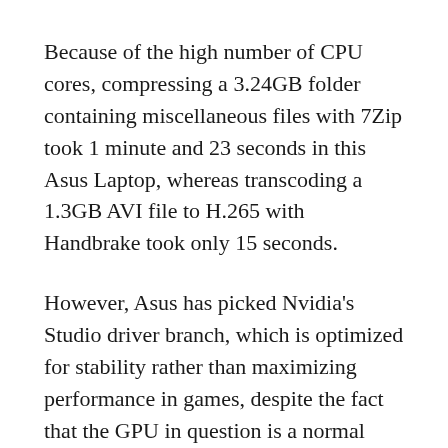Because of the high number of CPU cores, compressing a 3.24GB folder containing miscellaneous files with 7Zip took 1 minute and 23 seconds in this Asus Laptop, whereas transcoding a 1.3GB AVI file to H.265 with Handbrake took only 15 seconds.
However, Asus has picked Nvidia's Studio driver branch, which is optimized for stability rather than maximizing performance in games, despite the fact that the GPU in question is a normal GeForce RTX 3070 model.
The Unigine Superposition benchmark achieved an average frame rate of 49.97 frames per second